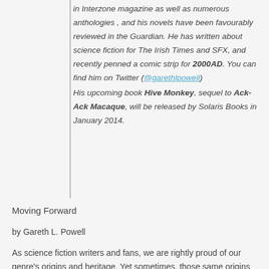in Interzone magazine as well as numerous anthologies , and his novels have been favourably reviewed in the Guardian. He has written about science fiction for The Irish Times and SFX, and recently penned a comic strip for 2000AD. You can find him on Twitter (@garethlpowell) His upcoming book Hive Monkey, sequel to Ack-Ack Macaque, will be released by Solaris Books in January 2014.
Moving Forward
by Gareth L. Powell
As science fiction writers and fans, we are rightly proud of our genre's origins and heritage. Yet sometimes, those same origins can be a millstone around our necks,